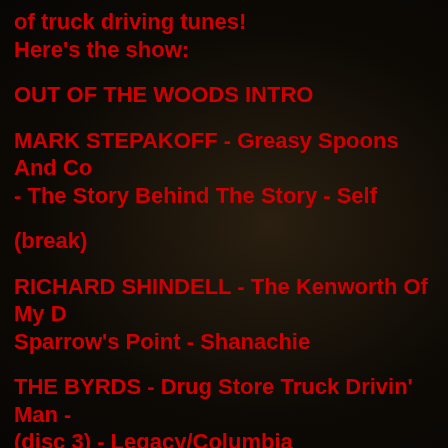of truck driving tunes! Here's the show:
OUT OF THE WOODS INTRO
MARK STEPAKOFF - Greasy Spoons And Co- - The Story Behind The Story - Self
(break)
RICHARD SHINDELL - The Kenworth Of My D- Sparrow's Point - Shanachie
THE BYRDS - Drug Store Truck Drivin' Man - (disc 3) - Legacy/Columbia